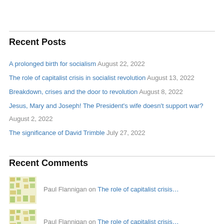Recent Posts
A prolonged birth for socialism August 22, 2022
The role of capitalist crisis in socialist revolution August 13, 2022
Breakdown, crises and the door to revolution August 8, 2022
Jesus, Mary and Joseph! The President's wife doesn't support war? August 2, 2022
The significance of David Trimble July 27, 2022
Recent Comments
Paul Flannigan on The role of capitalist crisis…
Paul Flannigan on The role of capitalist crisis…